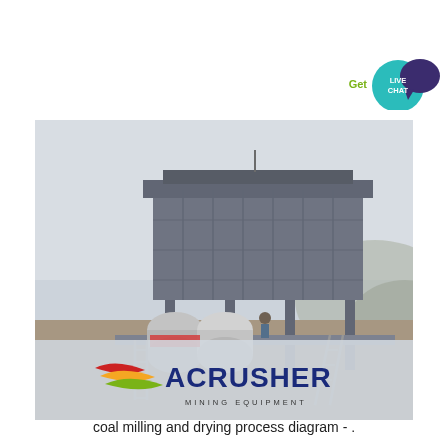[Figure (other): Live Chat button with teal circle and dark purple speech bubble icon, with green 'Get' text]
[Figure (photo): Outdoor industrial coal milling and drying equipment installation: large grey metal structure/building on stilts with cylindrical dryer drums on a steel platform, misty hilly background. ACRUSHER MINING EQUIPMENT logo overlaid at the bottom of the photo.]
coal milling and drying process diagram - .